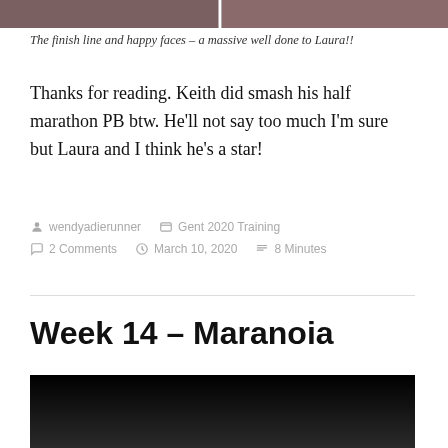[Figure (photo): A horizontal photo strip showing finish line and happy faces from a running event.]
The finish line and happy faces – a massive well done to Laura!!
Thanks for reading. Keith did smash his half marathon PB btw. He'll not say too much I'm sure but Laura and I think he's a star!
wendyadierunner   Gent 2020 Training   2 Comments   March 10, 2020   8 Minutes
Week 14 – Maranoia
[Figure (photo): A dark/night photo, partially visible at the bottom of the page.]